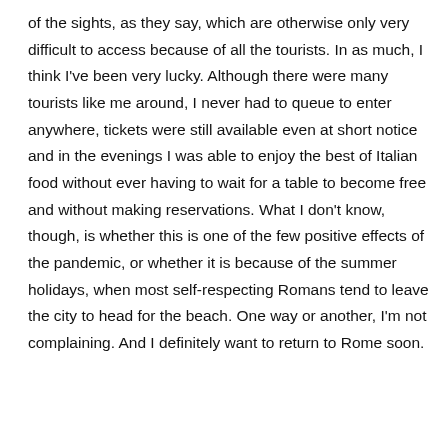of the sights, as they say, which are otherwise only very difficult to access because of all the tourists. In as much, I think I've been very lucky. Although there were many tourists like me around, I never had to queue to enter anywhere, tickets were still available even at short notice and in the evenings I was able to enjoy the best of Italian food without ever having to wait for a table to become free and without making reservations. What I don't know, though, is whether this is one of the few positive effects of the pandemic, or whether it is because of the summer holidays, when most self-respecting Romans tend to leave the city to head for the beach. One way or another, I'm not complaining. And I definitely want to return to Rome soon.